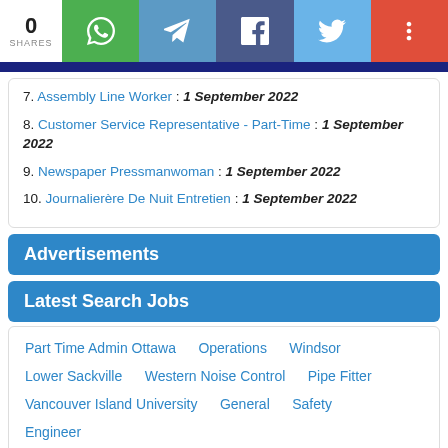[Figure (infographic): Social share bar with 0 shares, and buttons for WhatsApp, Telegram, Facebook, Twitter, and More]
7. Assembly Line Worker : 1 September 2022
8. Customer Service Representative - Part-Time : 1 September 2022
9. Newspaper Pressmanwoman : 1 September 2022
10. Journalierère De Nuit Entretien : 1 September 2022
Advertisements
Latest Search Jobs
Part Time Admin Ottawa   Operations   Windsor   Lower Sackville   Western Noise Control   Pipe Fitter   Vancouver Island University   General   Safety   Engineer